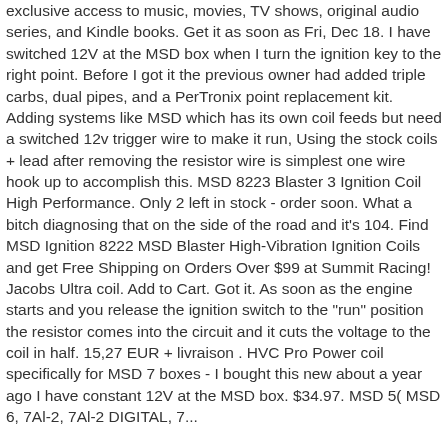exclusive access to music, movies, TV shows, original audio series, and Kindle books. Get it as soon as Fri, Dec 18. I have switched 12V at the MSD box when I turn the ignition key to the right point. Before I got it the previous owner had added triple carbs, dual pipes, and a PerTronix point replacement kit. Adding systems like MSD which has its own coil feeds but need a switched 12v trigger wire to make it run, Using the stock coils + lead after removing the resistor wire is simplest one wire hook up to accomplish this. MSD 8223 Blaster 3 Ignition Coil High Performance. Only 2 left in stock - order soon. What a bitch diagnosing that on the side of the road and it's 104. Find MSD Ignition 8222 MSD Blaster High-Vibration Ignition Coils and get Free Shipping on Orders Over $99 at Summit Racing! Jacobs Ultra coil. Add to Cart. Got it. As soon as the engine starts and you release the ignition switch to the "run" position the resistor comes into the circuit and it cuts the voltage to the coil in half. 15,27 EUR + livraison . HVC Pro Power coil specifically for MSD 7 boxes - I bought this new about a year ago I have constant 12V at the MSD box. $34.97. MSD 5( MSD 6, 7Al-2, 7Al-2 DIGITAL, 7...